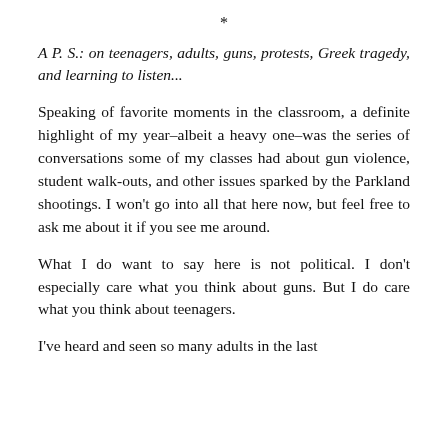*
A P. S.: on teenagers, adults, guns, protests, Greek tragedy, and learning to listen...
Speaking of favorite moments in the classroom, a definite highlight of my year–albeit a heavy one–was the series of conversations some of my classes had about gun violence, student walk-outs, and other issues sparked by the Parkland shootings. I won't go into all that here now, but feel free to ask me about it if you see me around.
What I do want to say here is not political. I don't especially care what you think about guns. But I do care what you think about teenagers.
I've heard and seen so many adults in the last